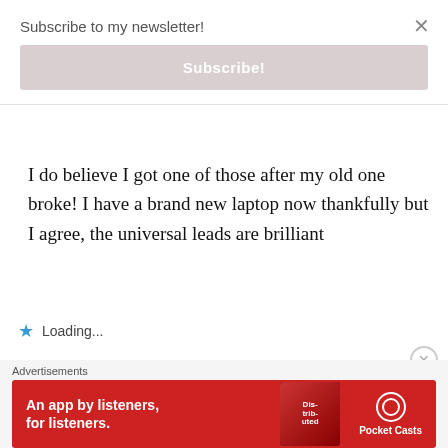Subscribe to my newsletter!
Subscribe!
I do believe I got one of those after my old one broke! I have a brand new laptop now thankfully but I agree, the universal leads are brilliant
Loading...
[Figure (photo): Circular avatar photo of a person with glasses and reddish-brown hair]
Advertisements
[Figure (infographic): Red banner advertisement for Pocket Casts: 'An app by listeners, for listeners.' with Pocket Casts logo and phone image showing 'Dis-trib-uted' text]